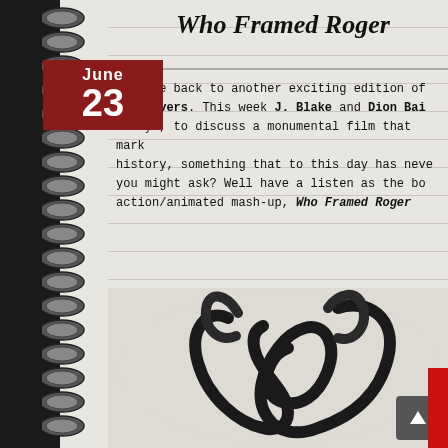[Figure (illustration): Black spiral notebook binding along the left edge of the page]
Who Framed Roger
June 23
Welcome back to another exciting edition of Sleepovers. This week J. Blake and Dion Bai... alley', to discuss a monumental film that mark... history, something that to this day has neve... you might ask? Well have a listen as the bo... action/animated mash-up, Who Framed Roger
[Figure (photo): Curled film strip forming a decorative shape resembling Roger Rabbit silhouette on a light background]